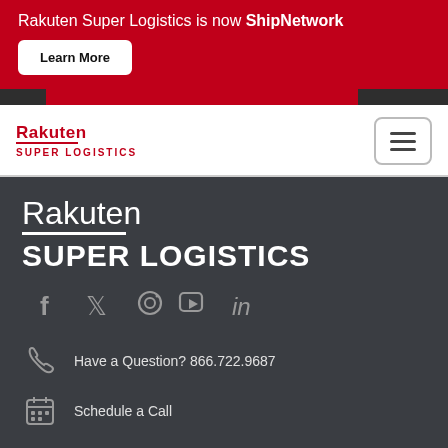Rakuten Super Logistics is now ShipNetwork
Learn More
[Figure (logo): Rakuten Super Logistics logo with hamburger menu button on the right]
[Figure (logo): Large Rakuten Super Logistics white logo on dark background]
[Figure (infographic): Social media icons: Facebook, Twitter, Instagram, YouTube, LinkedIn]
Have a Question? 866.722.9687
Schedule a Call